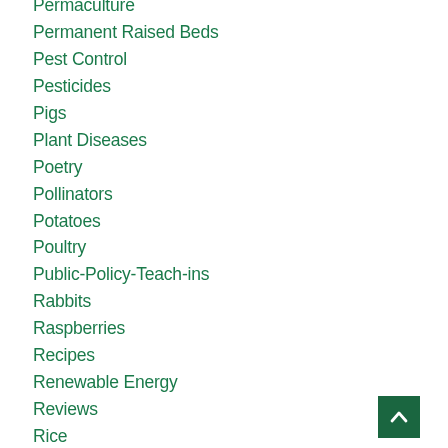Permaculture
Permanent Raised Beds
Pest Control
Pesticides
Pigs
Plant Diseases
Poetry
Pollinators
Potatoes
Poultry
Public-Policy-Teach-ins
Rabbits
Raspberries
Recipes
Renewable Energy
Reviews
Rice
School Gardens
Schools
Season Extension